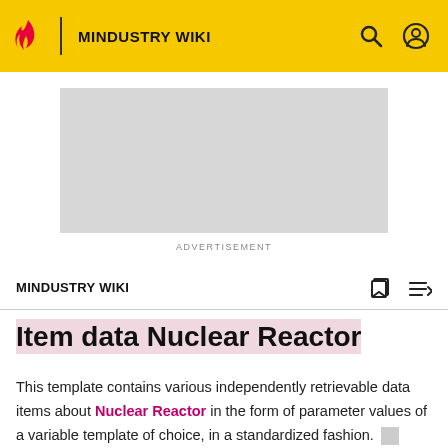MINDUSTRY WIKI
[Figure (other): Advertisement placeholder gray rectangle]
ADVERTISEMENT
MINDUSTRY WIKI
Item data Nuclear Reactor
This template contains various independently retrievable data items about Nuclear Reactor in the form of parameter values of a variable template of choice, in a standardized fashion. Template:Nuclear Reactor